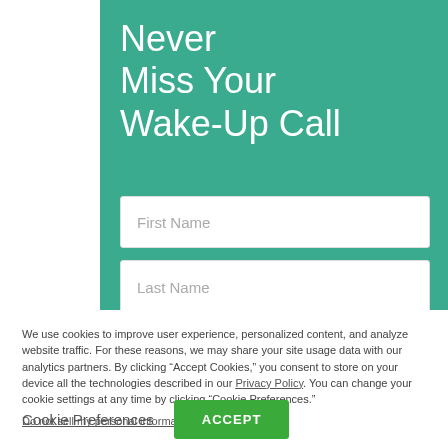Never Miss Your Wake-Up Call
First Name
Last Name
We use cookies to improve user experience, personalized content, and analyze website traffic. For these reasons, we may share your site usage data with our analytics partners. By clicking “Accept Cookies,” you consent to store on your device all the technologies described in our Privacy Policy. You can change your cookie settings at any time by clicking “Cookie Preferences.”
Do not sell my personal information.
Cookie Preferences
ACCEPT